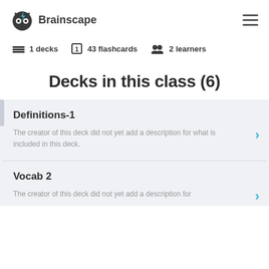Brainscape
1 decks   43 flashcards   2 learners
Decks in this class (6)
Definitions-1
The creator of this deck did not yet add a description for what is included in this deck.
Vocab 2
The creator of this deck did not yet add a description for